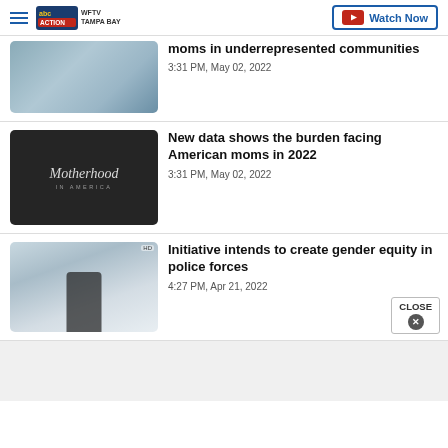WFTV Tampa Bay — Watch Now
[Figure (screenshot): Partial news thumbnail showing person in car]
moms in underrepresented communities
3:31 PM, May 02, 2022
[Figure (screenshot): Thumbnail with text 'Motherhood IN AMERICA' on dark background]
New data shows the burden facing American moms in 2022
3:31 PM, May 02, 2022
[Figure (screenshot): Thumbnail showing person near car in winter scene]
Initiative intends to create gender equity in police forces
4:27 PM, Apr 21, 2022